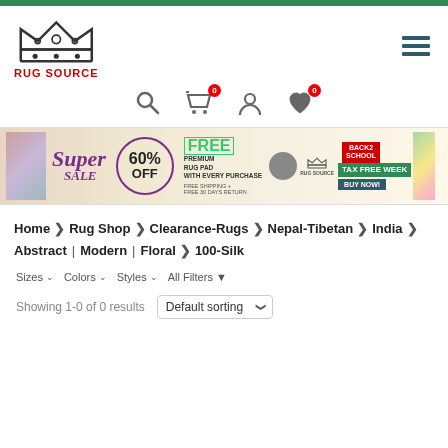[Figure (logo): Rug Source logo with crown icon and red text]
[Figure (infographic): Navigation icons: search, cart (0), user, wishlist (0)]
[Figure (infographic): Banner: Super Sale 60% OFF, FREE Premium Rug Pad, Back 2 School Tax Free Week, Buy Now]
Home > Rug Shop > Clearance-Rugs > Nepal-Tibetan > India > Abstract | Modern | Floral > 100-Silk
Sizes ▾   Colors ▾   Styles ▾   All Filters
Showing 1-0 of 0 results   Default sorting